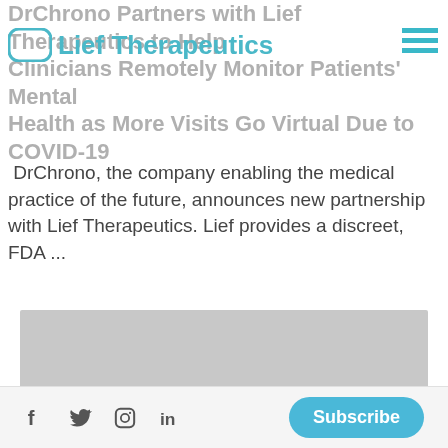DrChrono Partners with Lief Therapeutics to Help Clinicians Remotely Monitor Patients' Mental Health as More Visits Go Virtual Due to COVID-19
[Figure (logo): Lief Therapeutics logo with teal rounded square icon and teal text reading 'Lief Therapeutics']
DrChrono, the company enabling the medical practice of the future, announces new partnership with Lief Therapeutics. Lief provides a discreet, FDA ...
[Figure (photo): Gray placeholder image block]
Social icons: f (Facebook), bird (Twitter), circle (Instagram), in (LinkedIn) | Subscribe button